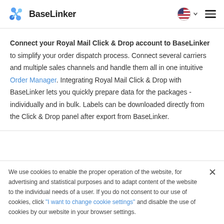BaseLinker
Connect your Royal Mail Click & Drop account to BaseLinker to simplify your order dispatch process. Connect several carriers and multiple sales channels and handle them all in one intuitive Order Manager. Integrating Royal Mail Click & Drop with BaseLinker lets you quickly prepare data for the packages - individually and in bulk. Labels can be downloaded directly from the Click & Drop panel after export from BaseLinker.
We use cookies to enable the proper operation of the website, for advertising and statistical purposes and to adapt content of the website to the individual needs of a user. If you do not consent to our use of cookies, click "I want to change cookie settings" and disable the use of cookies by our website in your browser settings.